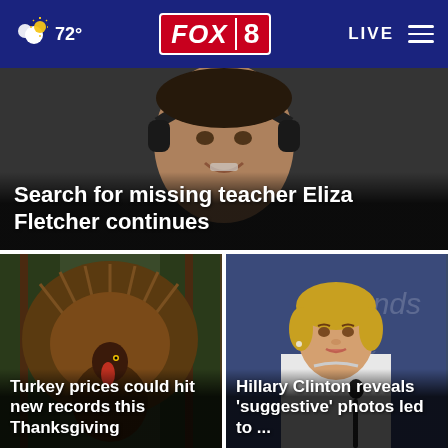72° FOX 8 LIVE
[Figure (photo): Close-up photo of a person wearing headphones, partially visible face with a slight smile]
Search for missing teacher Eliza Fletcher continues
[Figure (photo): A wild turkey with fan tail displayed, in a forest/outdoor setting]
Turkey prices could hit new records this Thanksgiving
[Figure (photo): Hillary Clinton speaking at a podium with a microphone, wearing a white jacket, at what appears to be a debate]
Hillary Clinton reveals 'suggestive' photos led to ...